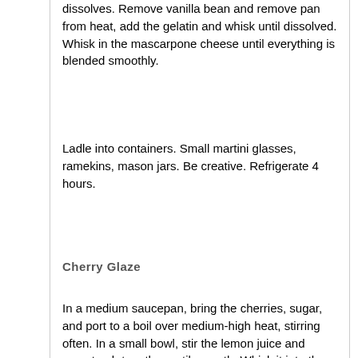dissolves. Remove vanilla bean and remove pan from heat, add the gelatin and whisk until dissolved. Whisk in the mascarpone cheese until everything is blended smoothly.
Ladle into containers. Small martini glasses, ramekins, mason jars. Be creative. Refrigerate 4 hours.
Cherry Glaze
In a medium saucepan, bring the cherries, sugar, and port to a boil over medium-high heat, stirring often. In a small bowl, stir the lemon juice and cornstarch together until smooth. Whisk it into the boiling cherry mixture.
Return to a boil, stirring constantly. You don’t want this sauce to scorch on the bottom.Cook until the liquid has thickened, which should take about 1 more minute.
Remove the pot from the heat and taste. You can add a little extra sugar or lemon juice if needed at this point, depending on your personal preference.